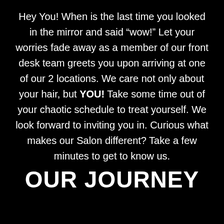Hey You! When is the last time you looked in the mirror and said “wow!” Let your worries fade away as a member of our front desk team greets you upon arriving at one of our 2 locations. We care not only about your hair, but YOU! Take some time out of your chaotic schedule to treat yourself. We look forward to inviting you in. Curious what makes our Salon different? Take a few minutes to get to know us.
OUR JOURNEY